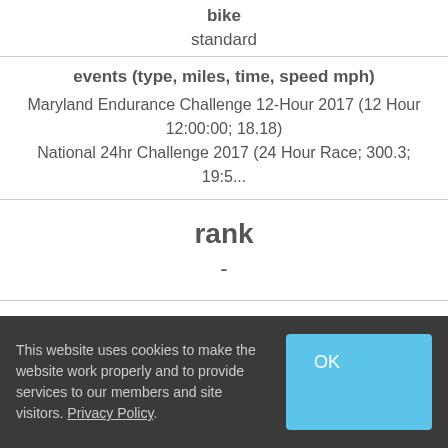| bike | events (type, miles, time, speed mph) | rank | average speed (mph) | gender | age |
| --- | --- | --- | --- | --- | --- |
| standard |
| Maryland Endurance Challenge 12-Hour 2017 (12 Hour; 12:00:00; 18.18)
National 24hr Challenge 2017 (24 Hour Race; 300.3; 19:5...) |
| - |
| 16.66 |
| M |
|  |
This website uses cookies to make the website work properly and to provide services to our members and site visitors. Privacy Policy.